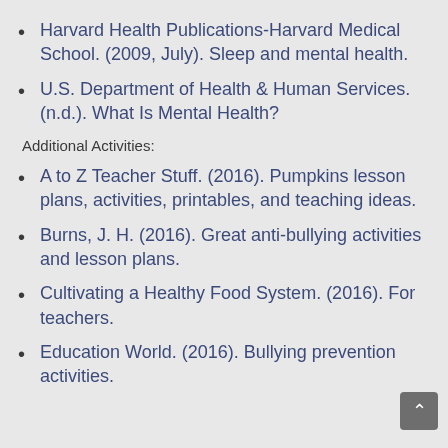Harvard Health Publications-Harvard Medical School. (2009, July). Sleep and mental health.
U.S. Department of Health & Human Services. (n.d.). What Is Mental Health?
Additional Activities:
A to Z Teacher Stuff. (2016). Pumpkins lesson plans, activities, printables, and teaching ideas.
Burns, J. H. (2016). Great anti-bullying activities and lesson plans.
Cultivating a Healthy Food System. (2016). For teachers.
Education World. (2016). Bullying prevention activities.